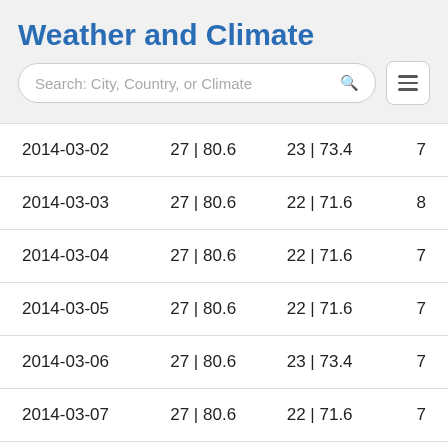Weather and Climate
Search: City, Country, or Climate
| 2014-03-02 | 27 | 80.6 | 23 | 73.4 | 7 |
| 2014-03-03 | 27 | 80.6 | 22 | 71.6 | 8 |
| 2014-03-04 | 27 | 80.6 | 22 | 71.6 | 7 |
| 2014-03-05 | 27 | 80.6 | 22 | 71.6 | 7 |
| 2014-03-06 | 27 | 80.6 | 23 | 73.4 | 7 |
| 2014-03-07 | 27 | 80.6 | 22 | 71.6 | 7 |
| 2014-03-08 | 27 | 80.6 | 22 | 71.6 | 7 |